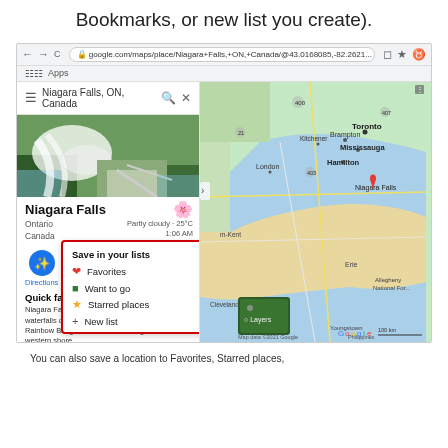Bookmarks, or new list you create).
[Figure (screenshot): Google Maps screenshot showing Niagara Falls location with a Save in your lists popup (red border) containing options: Favorites, Want to go, Starred places, New list. The browser URL bar shows google.com/maps/place/Niagara+Falls...]
You can also save a location to Favorites, Starred places,